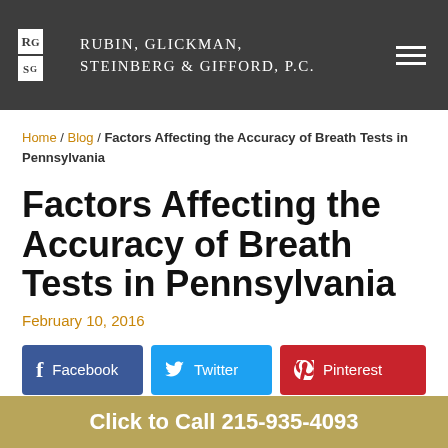Rubin, Glickman, Steinberg & Gifford, P.C.
Home / Blog / Factors Affecting the Accuracy of Breath Tests in Pennsylvania
Factors Affecting the Accuracy of Breath Tests in Pennsylvania
February 10, 2016
[Figure (infographic): Social sharing buttons: Facebook, Twitter, Pinterest, LinkedIn]
Click to Call  215-935-4093